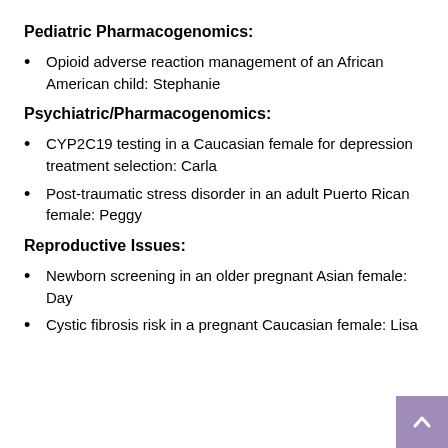Pediatric Pharmacogenomics:
Opioid adverse reaction management of an African American child: Stephanie
Psychiatric/Pharmacogenomics:
CYP2C19 testing in a Caucasian female for depression treatment selection: Carla
Post-traumatic stress disorder in an adult Puerto Rican female: Peggy
Reproductive Issues:
Newborn screening in an older pregnant Asian female: Day
Cystic fibrosis risk in a pregnant Caucasian female: Lisa